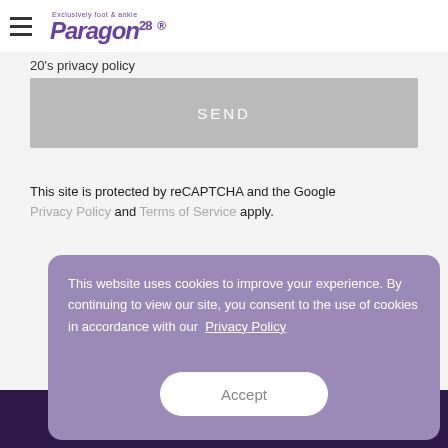Paragon 28 — Exclusively foot & ankle
20's privacy policy
SEND
This site is protected by reCAPTCHA and the Google Privacy Policy and Terms of Service apply.
This website uses cookies to improve your experience. By continuing to view our site, you consent to the use of cookies in accordance with our Privacy Policy
Accept